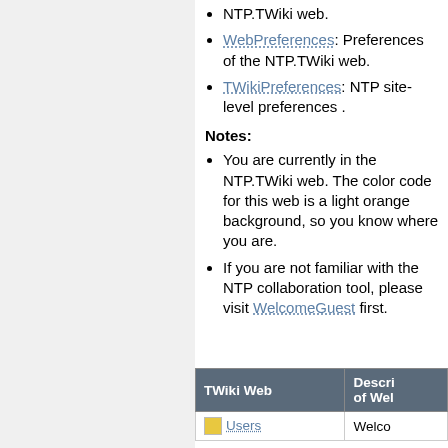NTP.TWiki web.
WebPreferences: Preferences of the NTP.TWiki web.
TWikiPreferences: NTP site-level preferences .
Notes:
You are currently in the NTP.TWiki web. The color code for this web is a light orange background, so you know where you are.
If you are not familiar with the NTP collaboration tool, please visit WelcomeGuest first.
| TWiki Web | Descri of Wel |
| --- | --- |
| [icon] Users | Welco |